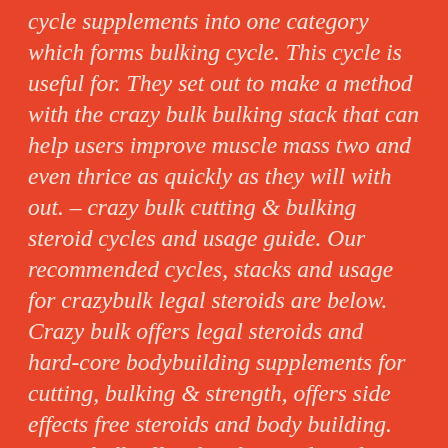cycle supplements into one category which forms bulking cycle. This cycle is useful for. They set out to make a method with the crazy bulk bulking stack that can help users improve muscle mass two and even thrice as quickly as they will with out. – crazy bulk cutting & bulking steroid cycles and usage guide. Our recommended cycles, stacks and usage for crazybulk legal steroids are below. Crazy bulk offers legal steroids and hard-core bodybuilding supplements for cutting, bulking & strength, offers side effects free steroids and body building. Crazy bulk offers legal steroids and hard-core bodybuilding supplements for cutting, bulking & strength, offers side effects free steroids and body building. The cutting stack contains testo-max like the bulking stack but then combines winsol, anvarol and clenbutrol – the latter is designed to be taken before